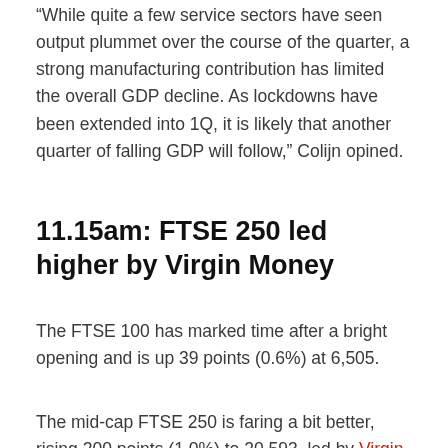“While quite a few service sectors have seen output plummet over the course of the quarter, a strong manufacturing contribution has limited the overall GDP decline. As lockdowns have been extended into 1Q, it is likely that another quarter of falling GDP will follow,” Colijn opined.
11.15am: FTSE 250 led higher by Virgin Money
The FTSE 100 has marked time after a bright opening and is up 39 points (0.6%) at 6,505.
The mid-cap FTSE 250 is faring a bit better, rising 200 points (1.0%) to 20,593, led by Virgin Money UK PLC